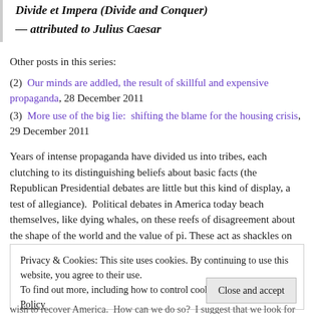— attributed to Julius Caesar
Other posts in this series:
(2) Our minds are addled, the result of skillful and expensive propaganda, 28 December 2011
(3) More use of the big lie: shifting the blame for the housing crisis, 29 December 2011
Years of intense propaganda have divided us into tribes, each clutching to its distinguishing beliefs about basic facts (the Republican Presidential debates are little but this kind of display, a test of allegiance). Political debates in America today beach themselves, like dying whales, on these reefs of disagreement about the shape of the world and the value of pi. These act as shackles on us, preventing the formation of the broad coalitions which are IMO our only way forward.
Privacy & Cookies: This site uses cookies. By continuing to use this website, you agree to their use. To find out more, including how to control cookies, see here: Cookie Policy
wish to recover America. How can we do so? I suggest that we look for